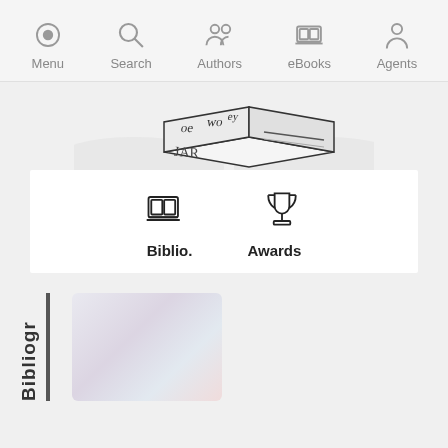Menu | Search | Authors | eBooks | Agents
[Figure (logo): Decorative book/text logo with letters arranged in an isometric box shape, showing text like 'oe', 'wo', 'JAR' etc.]
[Figure (infographic): Two icons: a bibliography/eBooks icon and a trophy/awards icon]
Biblio.
Awards
Bibliogr
[Figure (photo): Book cover thumbnail, partially visible, light pastel colors]